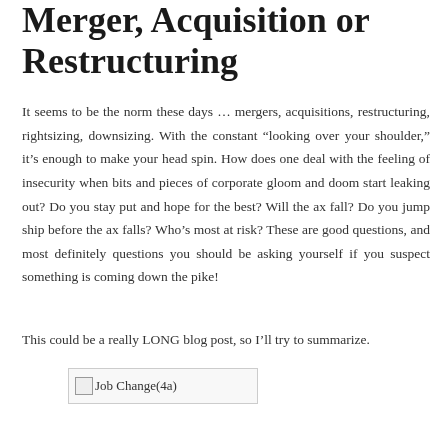Merger, Acquisition or Restructuring
It seems to be the norm these days … mergers, acquisitions, restructuring, rightsizing, downsizing. With the constant “looking over your shoulder,” it’s enough to make your head spin. How does one deal with the feeling of insecurity when bits and pieces of corporate gloom and doom start leaking out? Do you stay put and hope for the best? Will the ax fall? Do you jump ship before the ax falls? Who’s most at risk? These are good questions, and most definitely questions you should be asking yourself if you suspect something is coming down the pike!
This could be a really LONG blog post, so I’ll try to summarize.
[Figure (photo): Job Change(4a) - placeholder image]